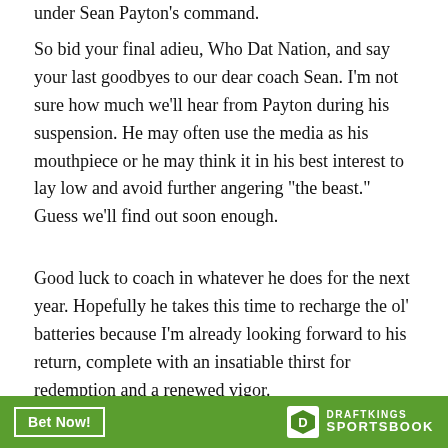under Sean Payton's command.
So bid your final adieu, Who Dat Nation, and say your last goodbyes to our dear coach Sean. I'm not sure how much we'll hear from Payton during his suspension. He may often use the media as his mouthpiece or he may think it in his best interest to lay low and avoid further angering "the beast." Guess we'll find out soon enough.
Good luck to coach in whatever he does for the next year. Hopefully he takes this time to recharge the ol' batteries because I'm already looking forward to his return, complete with an insatiable thirst for redemption and a renewed vigor.
[Figure (infographic): DraftKings Sportsbook advertisement banner with green background, 'Bet Now!' button outlined in white, and DraftKings Sportsbook logo on the right.]